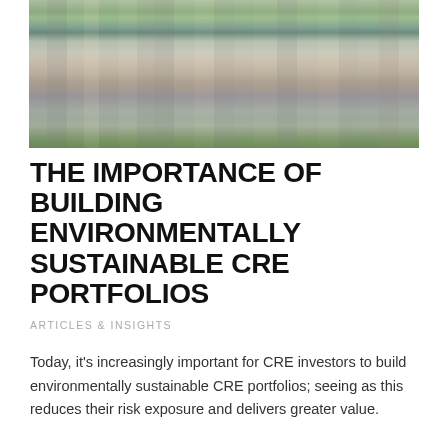[Figure (photo): Aerial/wide-angle photo of a dense urban cityscape with tall skyscrapers and high-rise buildings, green trees visible in foreground and edges, taken in daytime with hazy sky.]
THE IMPORTANCE OF BUILDING ENVIRONMENTALLY SUSTAINABLE CRE PORTFOLIOS
ARTICLES & INSIGHTS
Today, it's increasingly important for CRE investors to build environmentally sustainable CRE portfolios; seeing as this reduces their risk exposure and delivers greater value.